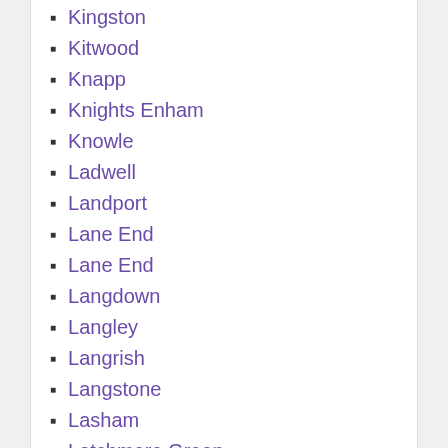Kingston
Kitwood
Knapp
Knights Enham
Knowle
Ladwell
Landport
Lane End
Lane End
Langdown
Langley
Langrish
Langstone
Lasham
Latchmere Green
Laverstoke
Leagreen
Leckford